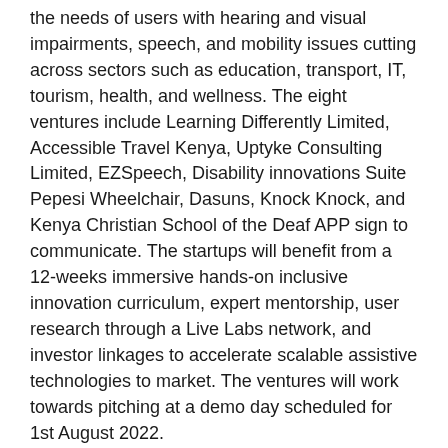the needs of users with hearing and visual impairments, speech, and mobility issues cutting across sectors such as education, transport, IT, tourism, health, and wellness. The eight ventures include Learning Differently Limited, Accessible Travel Kenya, Uptyke Consulting Limited, EZSpeech, Disability innovations Suite Pepesi Wheelchair, Dasuns, Knock Knock, and Kenya Christian School of the Deaf APP sign to communicate. The startups will benefit from a 12-weeks immersive hands-on inclusive innovation curriculum, expert mentorship, user research through a Live Labs network, and investor linkages to accelerate scalable assistive technologies to market. The ventures will work towards pitching at a demo day scheduled for 1st August 2022.
Innovate Now was launched in 2019 as part of the £40 million, UK Aid-funded, AT2030 program, led by GDI Hub. Implemented through a consortium of partners including Amref Health Africa (lead implementing partner 2019-2021) and Kilimanjaro Blind Trust (Live Labs implementing partner and new lead implementing partner). Today's Innovate Now is a partnership between GDI Hub, ICT Norway and Norad, bringing a new wave of momentum in the African innovation space.
"I am extremely proud to announce that we have selected Innovate Now's biggest cohort yet. We received interest from